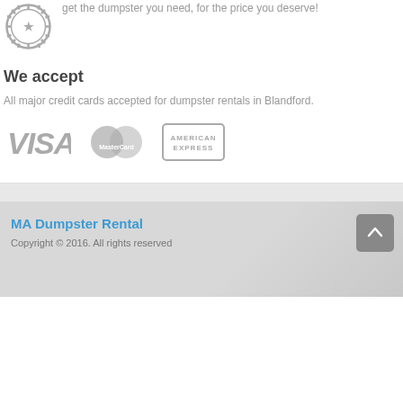[Figure (illustration): Guarantee badge/seal icon in gray]
get the dumpster you need, for the price you deserve!
We accept
All major credit cards accepted for dumpster rentals in Blandford.
[Figure (logo): VISA, MasterCard, and American Express payment logos in gray]
MA Dumpster Rental
Copyright © 2016. All rights reserved